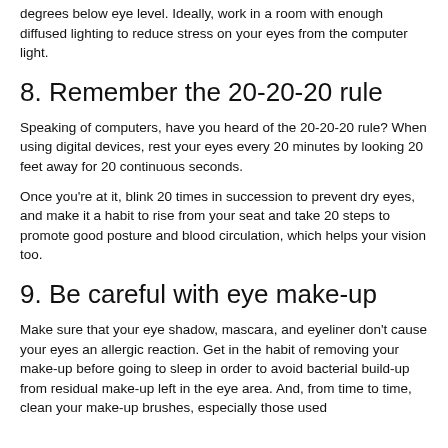degrees below eye level. Ideally, work in a room with enough diffused lighting to reduce stress on your eyes from the computer light.
8. Remember the 20-20-20 rule
Speaking of computers, have you heard of the 20-20-20 rule? When using digital devices, rest your eyes every 20 minutes by looking 20 feet away for 20 continuous seconds.
Once you're at it, blink 20 times in succession to prevent dry eyes, and make it a habit to rise from your seat and take 20 steps to promote good posture and blood circulation, which helps your vision too.
9. Be careful with eye make-up
Make sure that your eye shadow, mascara, and eyeliner don't cause your eyes an allergic reaction. Get in the habit of removing your make-up before going to sleep in order to avoid bacterial build-up from residual make-up left in the eye area. And, from time to time, clean your make-up brushes, especially those used